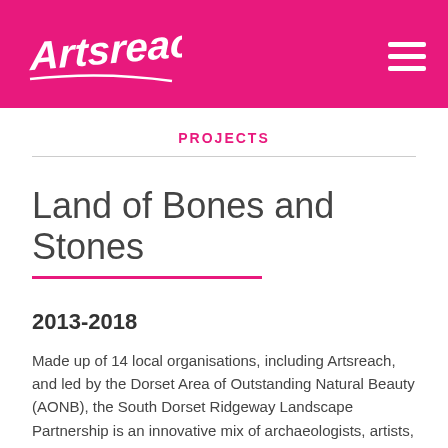Artsreach
PROJECTS
Land of Bones and Stones
2013-2018
Made up of 14 local organisations, including Artsreach, and led by the Dorset Area of Outstanding Natural Beauty (AONB), the South Dorset Ridgeway Landscape Partnership is an innovative mix of archaeologists, artists, historians, landowners, naturalists, teachers and, most importantly local people.